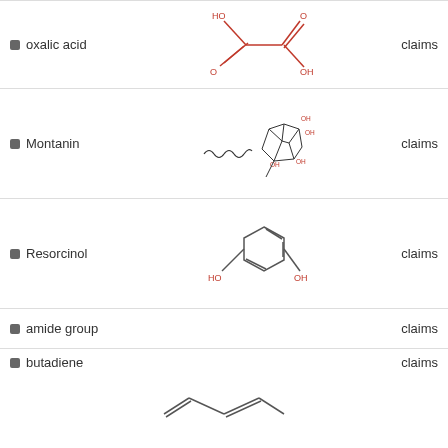oxalic acid — claims
[Figure (schematic): Chemical structure of oxalic acid: HO-C(=O)-C(=O)-OH drawn in red]
Montanin — claims
[Figure (schematic): Chemical structure of Montanin: complex polycyclic structure with long carbon chain]
Resorcinol — claims
[Figure (schematic): Chemical structure of Resorcinol: benzene ring with two OH groups]
amide group — claims
butadiene — claims
[Figure (schematic): Chemical structure of butadiene: CH2=CH-CH=CH2 shown as line-angle formula]